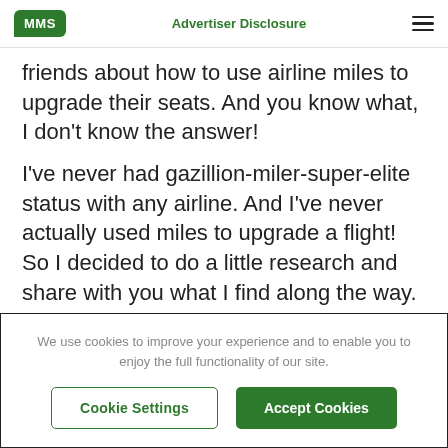MMS | Advertiser Disclosure
friends about how to use airline miles to upgrade their seats. And you know what, I don't know the answer!
I've never had gazillion-miler-super-elite status with any airline. And I've never actually used miles to upgrade a flight! So I decided to do a little research and share with you what I find along the way.
We use cookies to improve your experience and to enable you to enjoy the full functionality of our site.